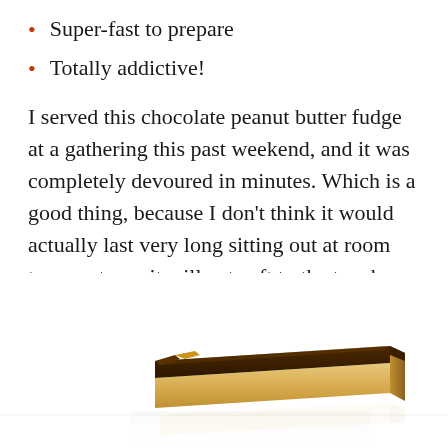Super-fast to prepare
Totally addictive!
I served this chocolate peanut butter fudge at a gathering this past weekend, and it was completely devoured in minutes. Which is a good thing, because I don’t think it would actually last very long sitting out at room temperature– it will get soft to the touch when not chilled.
[Figure (photo): A piece of chocolate peanut butter fudge with dark chocolate top layer and golden peanut butter base, sitting on a white surface with a slight reflection below.]